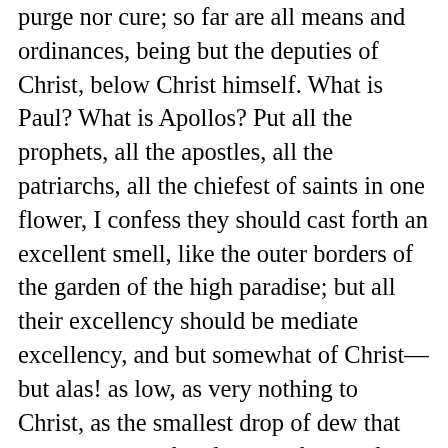purge nor cure; so far are all means and ordinances, being but the deputies of Christ, below Christ himself. What is Paul? What is Apollos? Put all the prophets, all the apostles, all the patriarchs, all the chiefest of saints in one flower, I confess they should cast forth an excellent smell, like the outer borders of the garden of the high paradise; but all their excellency should be mediate excellency, and but somewhat of Christ—but alas! as low, as very nothing to Christ, as the smallest drop of dew that sense can apprehend, to ten thousand worlds of seas, fountains, and floods. We defraud our spirits of much sweetness, because we go no further in our desires than to creature excellency; we rest on mediate comforts, because mediate: painted things do work but objectively: only a painted meadow casteth no smell, a painted tree bringeth forth no apples; the comforts and sweetness of the creatures have somewhat of daubing in them, in comparison of Jesus Christ; all reality, and truth of